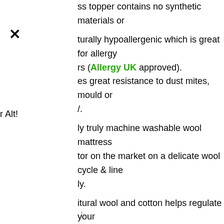ss topper contains no synthetic materials or
turally hypoallergenic which is great for allergy
rs (Allergy UK approved).
es great resistance to dust mites, mould or
/.
ly truly machine washable wool mattress
tor on the market on a delicate wool cycle & line
ly.
itural wool and cotton helps regulate your
rature and reduces humidity.
d in a natural calico bag which can be used again
rage.
Deep elasticated skirt made from unbleached 200
count organic cotton, which ensures your
ss protector stays in place.